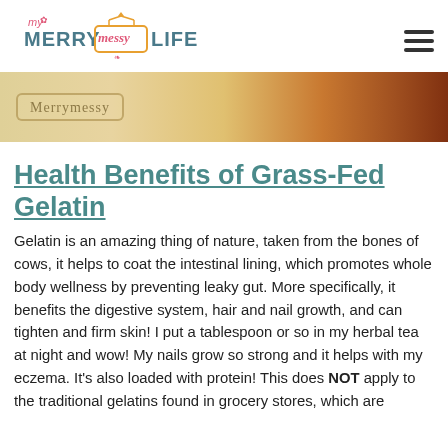My Merry Messy Life
[Figure (photo): Hero banner image showing warm golden/orange tones with a logo badge overlay reading 'Merrymessy']
Health Benefits of Grass-Fed Gelatin
Gelatin is an amazing thing of nature, taken from the bones of cows, it helps to coat the intestinal lining, which promotes whole body wellness by preventing leaky gut. More specifically, it benefits the digestive system, hair and nail growth, and can tighten and firm skin! I put a tablespoon or so in my herbal tea at night and wow! My nails grow so strong and it helps with my eczema. It's also loaded with protein! This does NOT apply to the traditional gelatins found in grocery stores, which are